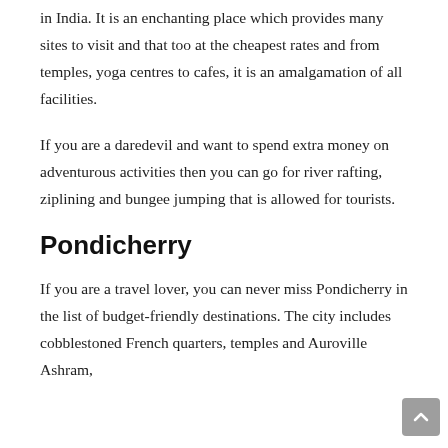in India. It is an enchanting place which provides many sites to visit and that too at the cheapest rates and from temples, yoga centres to cafes, it is an amalgamation of all facilities.
If you are a daredevil and want to spend extra money on adventurous activities then you can go for river rafting, ziplining and bungee jumping that is allowed for tourists.
Pondicherry
If you are a travel lover, you can never miss Pondicherry in the list of budget-friendly destinations. The city includes cobblestoned French quarters, temples and Auroville Ashram,